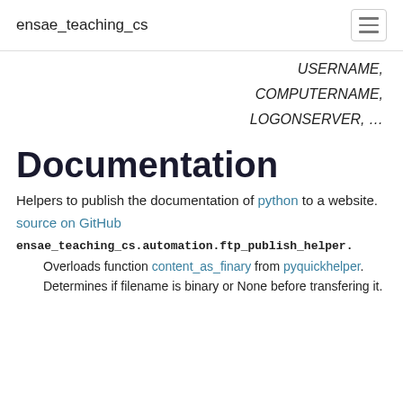ensae_teaching_cs
USERNAME, COMPUTERNAME, LOGONSERVER, …
Documentation
Helpers to publish the documentation of python to a website.
source on GitHub
ensae_teaching_cs.automation.ftp_publish_helper.
Overloads function content_as_finary from pyquickhelper. Determines if filename is binary or None before transfering it.